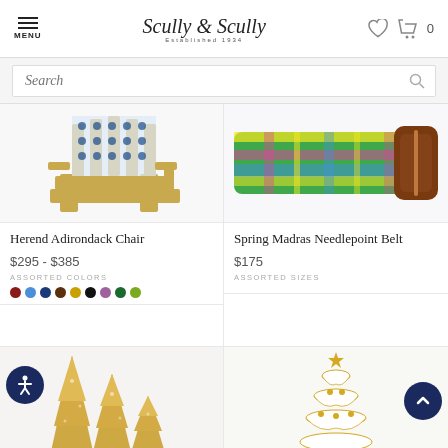Scully & Scully — Established 1934
[Figure (screenshot): Search bar with placeholder text 'Search' and magnifying glass icon]
[Figure (photo): Herend Adirondack Chair — blue and white patterned fabric chair with wooden legs, partial view]
Herend Adirondack Chair
$295 - $385
ASSORTED COLORS
[Figure (photo): Spring Madras Needlepoint Belt — colorful plaid/madras pattern needlepoint belt with brown leather buckle, partial view]
Spring Madras Needlepoint Belt
$175
ASSORTED SIZES
[Figure (photo): Set of three gold glittery Christmas tree figurines in ascending height]
[Figure (photo): White and gold porcelain Christmas tree figurine with star topper]